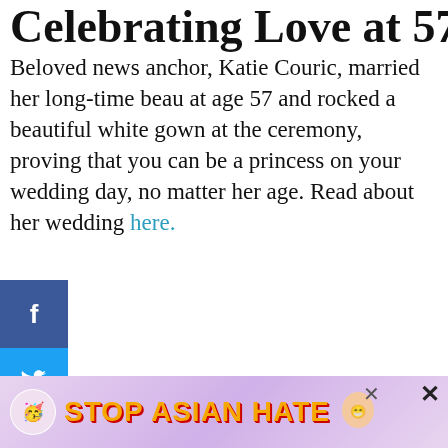Celebrating Love at 57
Beloved news anchor, Katie Couric, married her long-time beau at age 57 and rocked a beautiful white gown at the ceremony, proving that you can be a princess on your wedding day, no matter her age. Read about her wedding here.
Opening Her Heart to Love
Here’s a love story that warms my he...
Lee Carter met her husband at 49 after years in
[Figure (other): Social media share sidebar with Facebook, Twitter, Pinterest buttons]
[Figure (other): Like count 990 and share button on right side]
[Figure (other): What's Next widget showing thumbnail and text: How to Plan the Perfect...]
[Figure (other): Stop Asian Hate advertisement banner at bottom of page]